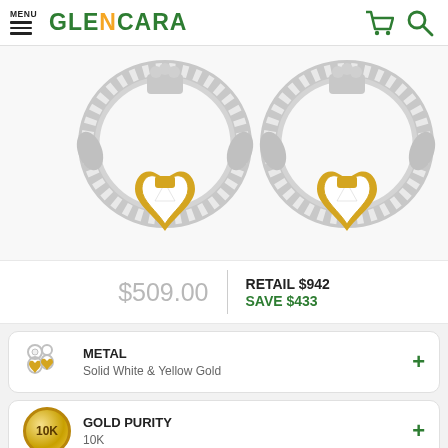MENU | GLENCARA
[Figure (photo): Two Claddagh earrings with diamond-encrusted bands, gold heart centers, and crown tops, shown side by side on white background]
$509.00  |  RETAIL $942  SAVE $433
METAL - Solid White & Yellow Gold
GOLD PURITY - 10K